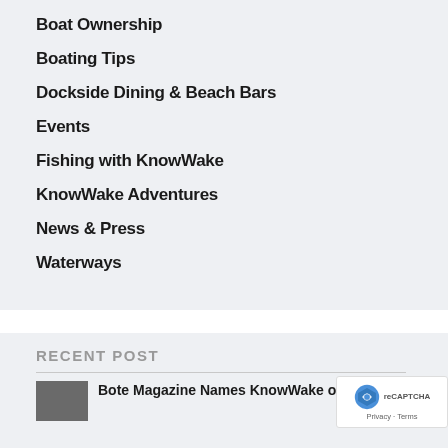Boat Ownership
Boating Tips
Dockside Dining & Beach Bars
Events
Fishing with KnowWake
KnowWake Adventures
News & Press
Waterways
RECENT POST
Bote Magazine Names KnowWake on